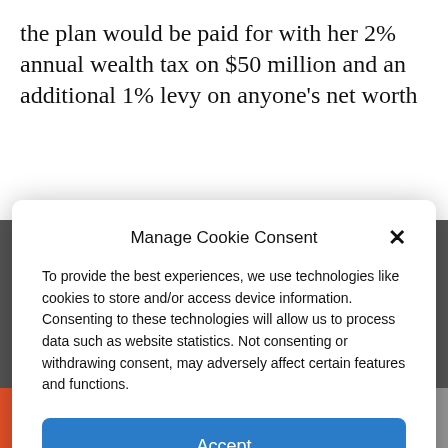the plan would be paid for with her 2% annual wealth tax on $50 million and an additional 1% levy on anyone's net worth
[Figure (photo): Partially visible news article photo in the background, darkened]
Manage Cookie Consent
To provide the best experiences, we use technologies like cookies to store and/or access device information. Consenting to these technologies will allow us to process data such as website statistics. Not consenting or withdrawing consent, may adversely affect certain features and functions.
Accept
Cookie Policy   Privacy Policy
+ f [twitter] [link] [mail]